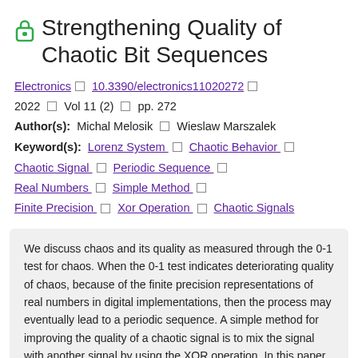Strengthening Quality of Chaotic Bit Sequences
Electronics □ 10.3390/electronics11020272 □ 2022 □ Vol 11 (2) □ pp. 272
Author(s): Michal Melosik □ Wieslaw Marszalek
Keyword(s): Lorenz System □ Chaotic Behavior □ Chaotic Signal □ Periodic Sequence □ Real Numbers □ Simple Method □ Finite Precision □ Xor Operation □ Chaotic Signals
We discuss chaos and its quality as measured through the 0-1 test for chaos. When the 0-1 test indicates deteriorating quality of chaos, because of the finite precision representations of real numbers in digital implementations, then the process may eventually lead to a periodic sequence. A simple method for improving the quality of a chaotic signal is to mix the signal with another signal by using the XOR operation. In this paper, such mixing of weak chaotic signals is considered, yielding new signals with improved quality (with K values from the 0-1 test close to 1). In some sense, such a mixing of signals could